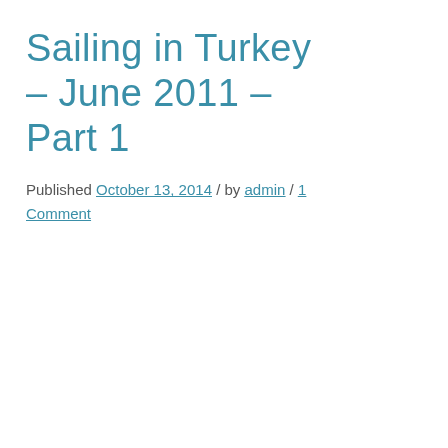Sailing in Turkey – June 2011 – Part 1
Published October 13, 2014 / by admin / 1 Comment